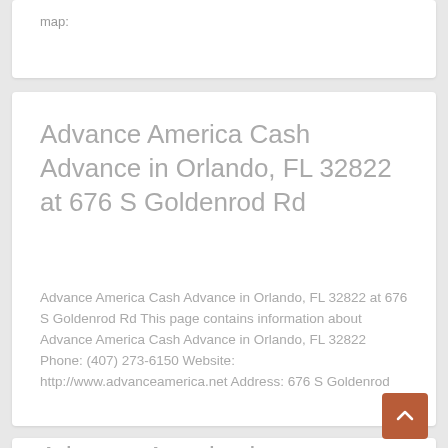map:
Advance America Cash Advance in Orlando, FL 32822 at 676 S Goldenrod Rd
Advance America Cash Advance in Orlando, FL 32822 at 676 S Goldenrod Rd This page contains information about Advance America Cash Advance in Orlando, FL 32822 Phone: (407) 273-6150 Website: http://www.advanceamerica.net Address: 676 S Goldenrod
Advance America in Orlando, FL 32822 at 4473 S Semoran Blvd